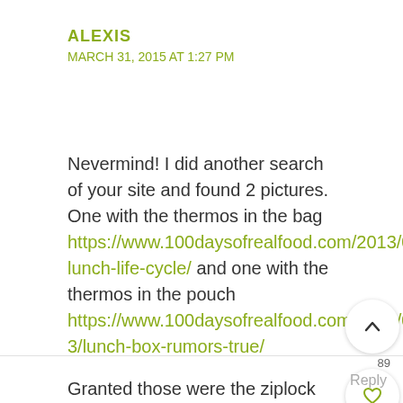ALEXIS
MARCH 31, 2015 AT 1:27 PM
Nevermind! I did another search of your site and found 2 pictures. One with the thermos in the bag https://www.100daysofrealfood.com/2013/04/12/school-lunch-life-cycle/ and one with the thermos in the pouch https://www.100daysofrealfood.com/2014/09/23/lunch-box-rumors-true/ Granted those were the ziplock boxes but I think they are roughly the same size. Thanks!
Reply